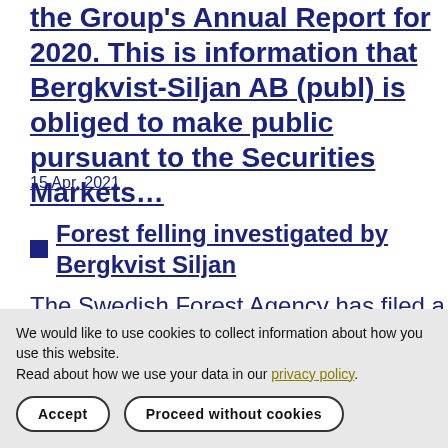the Group's Annual Report for 2020. This is information that Bergkvist-Siljan AB (publ) is obliged to make public pursuant to the Securities Markets…
15 Apr, 2021
Forest felling investigated by Bergkvist Siljan
The Swedish Forest Agency has filed a report to the police regarding felling of forest in…
We would like to use cookies to collect information about how you use this website.
Read about how we use your data in our privacy policy.